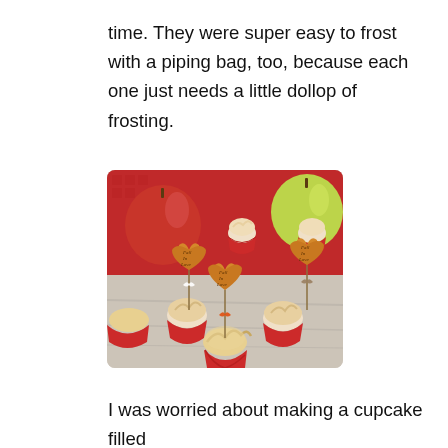time. They were super easy to frost with a piping bag, too, because each one just needs a little dollop of frosting.
[Figure (photo): Several fall-themed cupcakes with cream frosting in red wrappers, decorated with maple leaf toppers reading 'Fall In Love', with apples in the background on a red knit cloth and grey wood surface.]
I was worried about making a cupcake filled